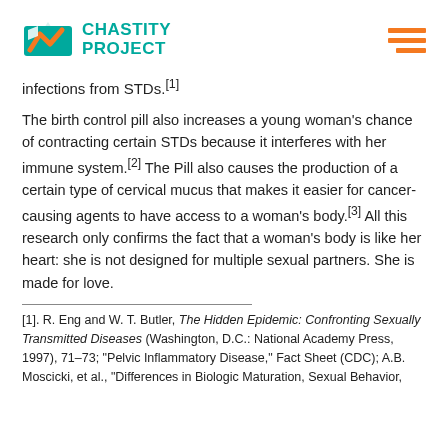Chastity Project
infections from STDs.[1]
The birth control pill also increases a young woman’s chance of contracting certain STDs because it interferes with her immune system.[2] The Pill also causes the production of a certain type of cervical mucus that makes it easier for cancer-causing agents to have access to a woman’s body.[3] All this research only confirms the fact that a woman’s body is like her heart: she is not designed for multiple sexual partners. She is made for love.
[1]. R. Eng and W. T. Butler, The Hidden Epidemic: Confronting Sexually Transmitted Diseases (Washington, D.C.: National Academy Press, 1997), 71–73; “Pelvic Inflammatory Disease,” Fact Sheet (CDC); A.B. Moscicki, et al., “Differences in Biologic Maturation, Sexual Behavior,